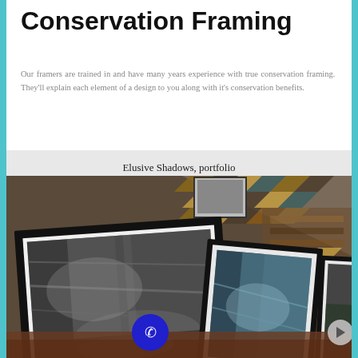Conservation Framing
Our framers are trained in and have many years experience with true conservation framing. They'll explain each element of a design to you along with it's conservation benefits.
Elusive Shadows, portfolio
[Figure (photo): Framed black and white photographs of rock canyon scenes displayed on a surface, with decorative frame samples visible in the background. A blue phone call button and a grey navigation arrow button are overlaid on the image.]